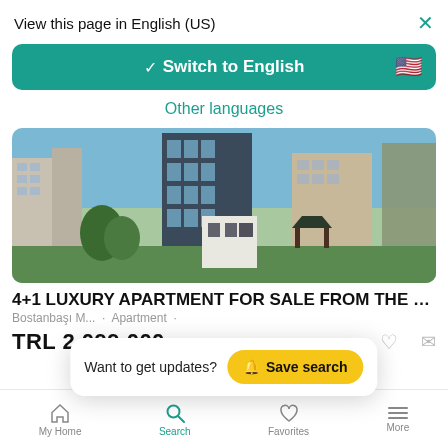View this page in English (US)
[Figure (screenshot): Switch to English button with teal background, checkmark, text, and US flag icon]
Other languages
[Figure (photo): Exterior photo of luxury apartment buildings with a park/garden area in the foreground]
4+1 LUXURY APARTMENT FOR SALE FROM THE PROJE...
Bostanbaşı M... · Apartment ·
TRL 2 099 000
[Figure (screenshot): Save search popup with bell icon and yellow button]
My Home | Search | Favorites | More